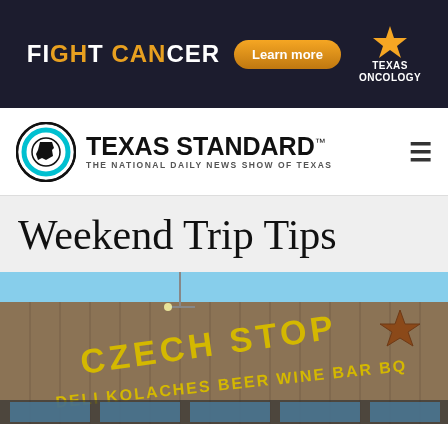[Figure (other): Fight Cancer advertisement banner for Texas Oncology with dark blue denim background, bold white and orange 'FIGHT CANCER' text, orange 'Learn more' pill button, and Texas Oncology logo with star.]
[Figure (logo): Texas Standard logo: circular Texas state outline icon with cyan/teal ring, bold black 'TEXAS STANDARD' text with TM mark, tagline 'THE NATIONAL DAILY NEWS SHOW OF TEXAS' in small caps.]
Weekend Trip Tips
[Figure (photo): Photo of Czech Stop storefront — a wood-paneled building with large yellow painted letters reading 'CZECH STOP' and below 'DELI KOLACHES BEER WINE BAR BQ', with glass storefront windows and blue sky.]